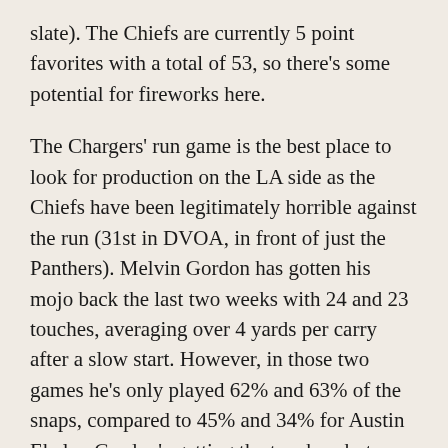slate). The Chiefs are currently 5 point favorites with a total of 53, so there's some potential for fireworks here.
The Chargers' run game is the best place to look for production on the LA side as the Chiefs have been legitimately horrible against the run (31st in DVOA, in front of just the Panthers). Melvin Gordon has gotten his mojo back the last two weeks with 24 and 23 touches, averaging over 4 yards per carry after a slow start. However, in those two games he's only played 62% and 63% of the snaps, compared to 45% and 34% for Austin Ekeler. Gordon's getting the touches, but Ekeler isn't going away, getting 16 and 8 touches of his own (including 6 targets against 5 for MG3). My concern here is less about the rushing work, as Gordon should dominate the workload there, but the